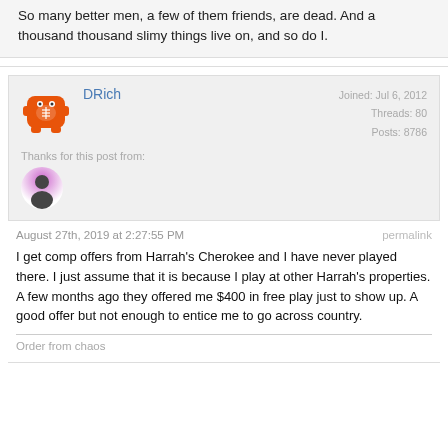So many better men, a few of them friends, are dead. And a thousand thousand slimy things live on, and so do I.
DRich
Joined: Jul 6, 2012
Threads: 80
Posts: 8786
Thanks for this post from:
August 27th, 2019 at 2:27:55 PM
permalink
I get comp offers from Harrah's Cherokee and I have never played there. I just assume that it is because I play at other Harrah's properties. A few months ago they offered me $400 in free play just to show up. A good offer but not enough to entice me to go across country.
Order from chaos